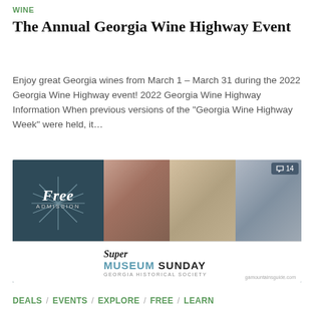WINE
The Annual Georgia Wine Highway Event
Enjoy great Georgia wines from March 1 – March 31 during the 2022 Georgia Wine Highway event! 2022 Georgia Wine Highway Information When previous versions of the “Georgia Wine Highway Week” were held, it…
[Figure (photo): Promotional image for Super Museum Sunday event on February 6, 2022, showing Free Admission starburst on dark background alongside photos of museum visitors and art gallery, with 'Super Museum Sunday - Georgia Historical Society' banner at bottom.]
DEALS / EVENTS / EXPLORE / FREE / LEARN